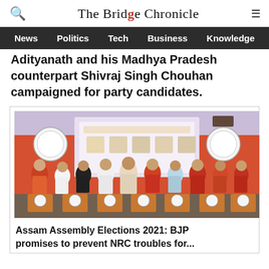The Bridge Chronicle
News  Politics  Tech  Business  Knowledge
Adityanath and his Madhya Pradesh counterpart Shivraj Singh Chouhan campaigned for party candidates.
[Figure (photo): BJP leaders at a stage with BJP logos on podiums, holding documents, at an indoor event with a screen displaying BJP election content in the background.]
Assam Assembly Elections 2021: BJP promises to prevent NRC troubles for...